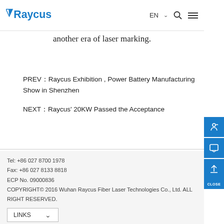Raycus | EN
another era of laser marking.
PREV：Raycus Exhibition , Power Battery Manufacturing Show in Shenzhen
NEXT：Raycus' 20KW Passed the Acceptance
Tel: +86 027 8700 1978
Fax: +86 027 8133 8818
ECP No. 09000836
COPYRIGHT© 2016 Wuhan Raycus Fiber Laser Technologies Co., Ltd. ALL RIGHT RESERVED.
LINKS
Contact us | Legal Notices | Privacy Policy | Sitemap